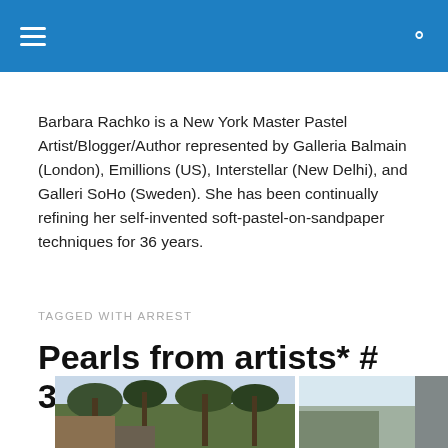Barbara Rachko is a New York Master Pastel Artist/Blogger/Author represented by Galleria Balmain (London), Emillions (US), Interstellar (New Delhi), and Galleri SoHo (Sweden). She has been continually refining her self-invented soft-pastel-on-sandpaper techniques for 36 years.
TAGGED WITH ARREST
Pearls from artists* # 362
[Figure (photo): Outdoor tropical scene with palm trees and structures, shown in two photographic panels side by side]